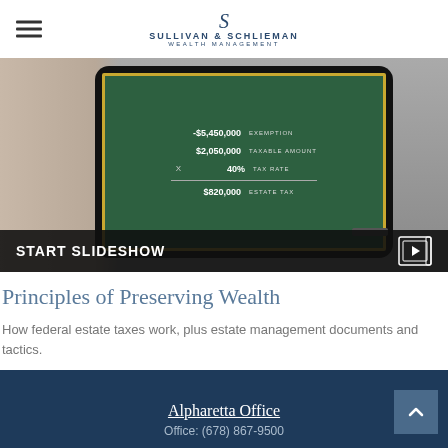Sullivan & Schlieman Wealth Management
[Figure (screenshot): Tablet showing chalkboard with estate tax calculation: -$5,450,000 Exemption, $2,050,000 Taxable Amount, X 40% Tax Rate, $820,000 Estate Tax. START SLIDESHOW button at bottom.]
Principles of Preserving Wealth
How federal estate taxes work, plus estate management documents and tactics.
Alpharetta Office